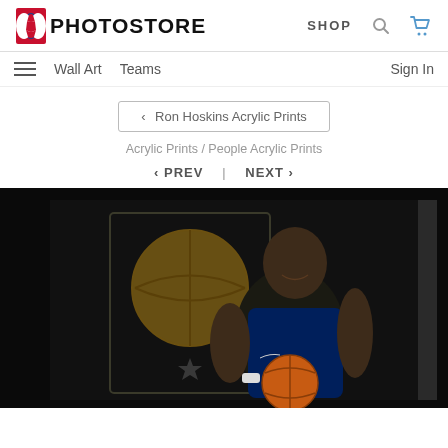NBA PHOTOSTORE — SHOP
Wall Art  Teams  Sign In
< Ron Hoskins Acrylic Prints
Acrylic Prints / People Acrylic Prints
< PREV  |  NEXT >
[Figure (photo): An NBA player from the Indiana Pacers in a navy and gold jersey holds a basketball with both hands, chin resting on his hands, posed in front of the Indiana Pacers logo against a dark background. The image is displayed on an acrylic print product with visible depth/edge.]